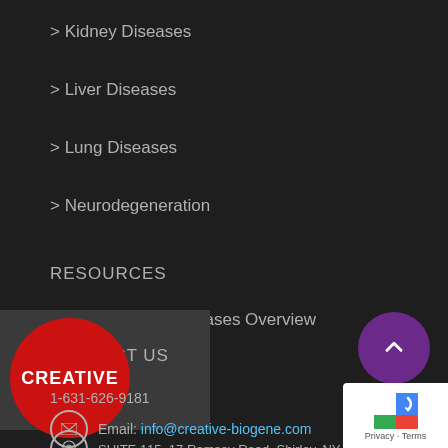> Kidney Diseases
> Liver Diseases
> Lung Diseases
> Neurodegeneration
RESOURCES
> Mitochondrial Diseases Overview
CONTACT US
1-631-626-9181
Email: info@creative-biogene.com
SUITE 115, 17 Ramsey Road, Shirley, NY 11967, USA